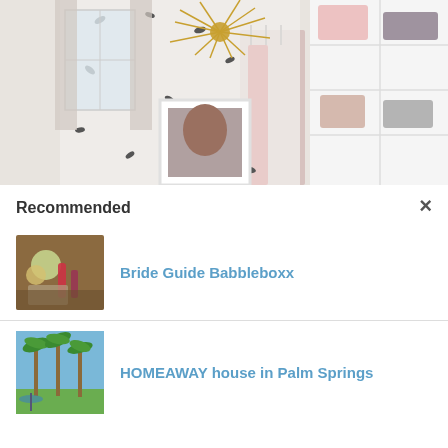[Figure (photo): Interior photo of a walk-in closet with white shelves, floral wallpaper, a sputnik chandelier, hanging clothes, and a framed portrait]
×
Recommended
[Figure (photo): Thumbnail image of wedding/bride items including flowers, makeup and accessories on a tray]
Bride Guide Babbleboxx
[Figure (photo): Thumbnail image of palm trees and green lawn, exterior of a house in Palm Springs]
HOMEAWAY house in Palm Springs